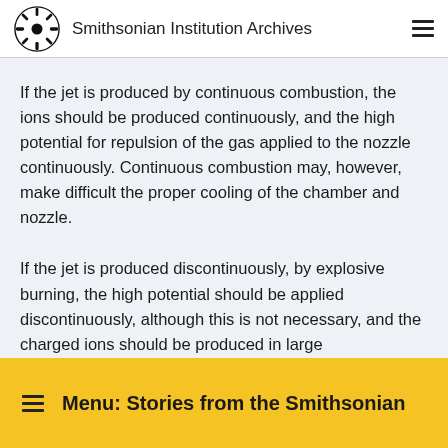Smithsonian Institution Archives
If the jet is produced by continuous combustion, the ions should be produced continuously, and the high potential for repulsion of the gas applied to the nozzle continuously. Continuous combustion may, however, make difficult the proper cooling of the chamber and nozzle.
If the jet is produced discontinuously, by explosive burning, the high potential should be applied discontinuously, although this is not necessary, and the charged ions should be produced in large
Menu: Stories from the Smithsonian